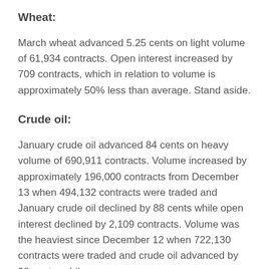Wheat:
March wheat advanced 5.25 cents on light volume of 61,934 contracts. Open interest increased by 709 contracts, which in relation to volume is approximately 50% less than average. Stand aside.
Crude oil:
January crude oil advanced 84 cents on heavy volume of 690,911 contracts. Volume increased by approximately 196,000 contracts from December 13 when 494,132 contracts were traded and January crude oil declined by 88 cents while open interest declined by 2,109 contracts. Volume was the heaviest since December 12 when 722,130 contracts were traded and crude oil advanced by 98 cents, while open